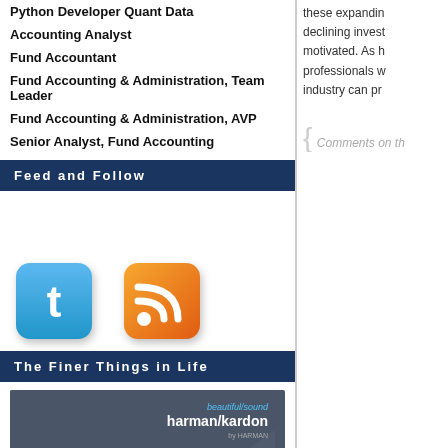Python Developer Quant Data
Accounting Analyst
Fund Accountant
Fund Accounting & Administration, Team Leader
Fund Accounting & Administration, AVP
Senior Analyst, Fund Accounting
Feed and Follow
[Figure (illustration): Twitter and RSS feed icons]
The Finer Things in Life
[Figure (illustration): Harman Kardon advertisement: beautiful/sound harman/kardon by HARMAN. SOPHISTICATION AND SIMPLICITY MEET SUPERB SOUND. Interchangeable headbands.]
these expanding declining invest motivated. As h professionals w industry can pr
Comments on th